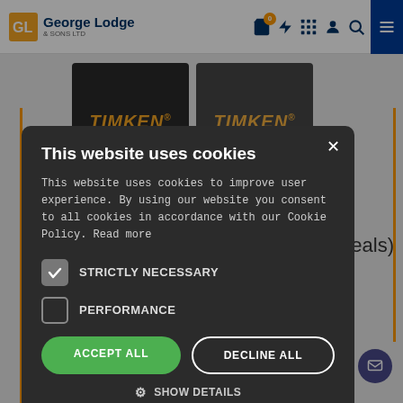George Lodge & Sons Ltd — navigation header with cart, lightning, calculator, user, search, and menu icons
[Figure (screenshot): Two TIMKEN branded black boxes with orange TIMKEN logo text, partially visible behind the cookie modal. Below the boxes, partial text reading 'ubber Seals)' and an orange 'More Details' button at the bottom.]
This website uses cookies
This website uses cookies to improve user experience. By using our website you consent to all cookies in accordance with our Cookie Policy. Read more
STRICTLY NECESSARY (checked)
PERFORMANCE (unchecked)
ACCEPT ALL | DECLINE ALL
SHOW DETAILS